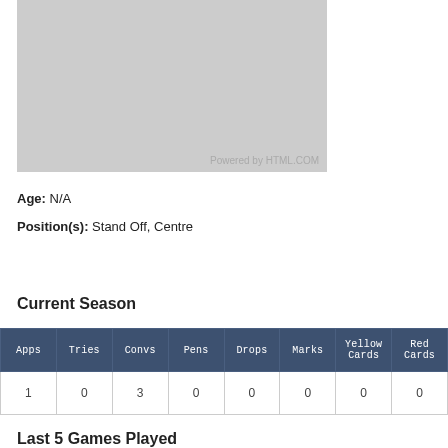[Figure (photo): Grey placeholder image with 'Powered by HTML.COM' watermark at bottom right]
Age: N/A
Position(s): Stand Off, Centre
Current Season
| Apps | Tries | Convs | Pens | Drops | Marks | Yellow Cards | Red Cards |
| --- | --- | --- | --- | --- | --- | --- | --- |
| 1 | 0 | 3 | 0 | 0 | 0 | 0 | 0 |
Last 5 Games Played